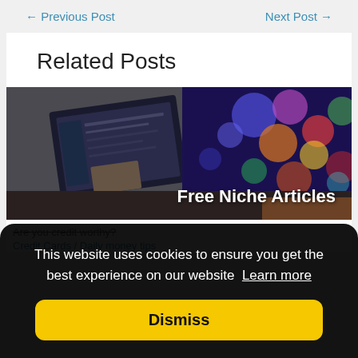← Previous Post    Next Post →
Related Posts
[Figure (photo): Laptop displaying a website/WordPress admin panel on the left, colorful bokeh lights on the right, with text overlay 'Free Niche Articles']
Are you credit worthy?
Credit Cards / Daily money tips
This website uses cookies to ensure you get the best experience on our website  Learn more
Dismiss